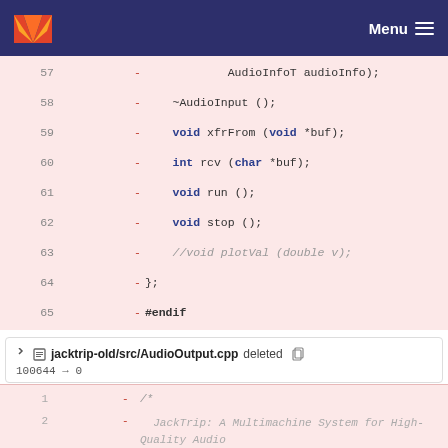GitLab Menu
[Figure (screenshot): Code diff view showing deleted lines 57-65 of a C++ header file with AudioInput class methods]
jacktrip-old/src/AudioOutput.cpp deleted
100644 → 0
[Figure (screenshot): Code diff view showing deleted lines 1-5 of AudioOutput.cpp with JackTrip copyright comment]